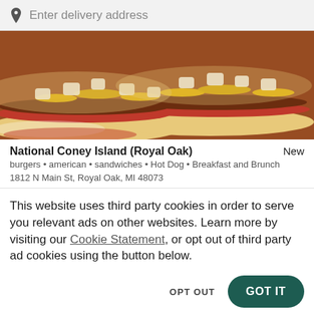Enter delivery address
[Figure (photo): Close-up photo of Coney Island hot dogs with chili, yellow mustard, and diced white onions on buns]
National Coney Island (Royal Oak)
burgers • american • sandwiches • Hot Dog • Breakfast and Brunch
1812 N Main St, Royal Oak, MI 48073
This website uses third party cookies in order to serve you relevant ads on other websites. Learn more by visiting our Cookie Statement, or opt out of third party ad cookies using the button below.
OPT OUT
GOT IT